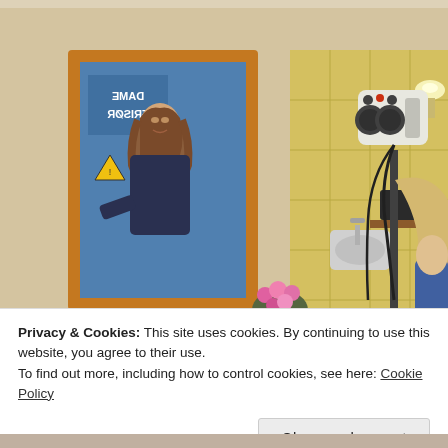[Figure (photo): Interior of a hair salon. On the left, a framed mirror with wooden border reflecting a young woman with brown hair wearing a dark jacket, with text 'DAME FRISØR' visible in the reflection. In the center background, a shelf with equipment. On the right, a standing professional hair dryer on a pole with black cables, set against yellow-tiled walls. Pink flowers visible in the lower center. A blonde woman is partially visible on the right edge.]
Privacy & Cookies: This site uses cookies. By continuing to use this website, you agree to their use.
To find out more, including how to control cookies, see here: Cookie Policy
Close and accept